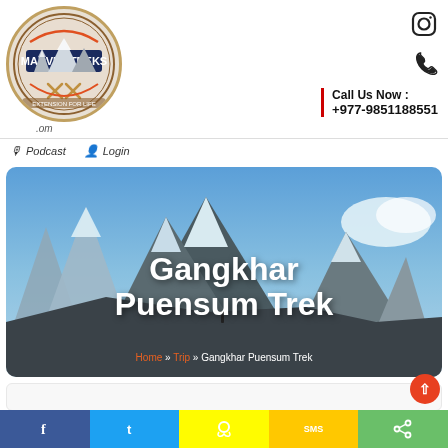[Figure (logo): Marvel Treks circular logo with mountain peaks and crossed pickaxe icons]
.om
[Figure (illustration): Instagram icon]
[Figure (illustration): Phone/call icon]
Call Us Now :
+977-9851188551
Podcast
Login
[Figure (photo): Mountain landscape with snow-capped peaks under blue sky - Gangkhar Puensum Trek hero image]
Gangkhar Puensum Trek
Home » Trip » Gangkhar Puensum Trek
[Figure (illustration): Social sharing bar with Facebook, Twitter, Snapchat, SMS, and share icons at the bottom of the page]